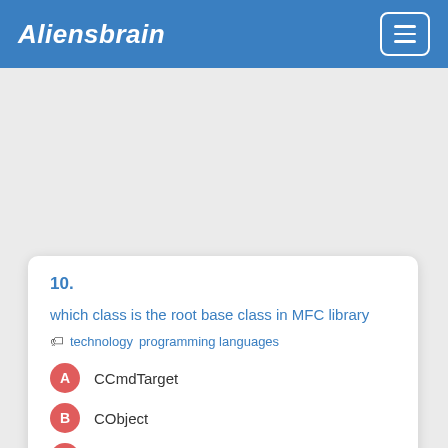Aliensbrain
10.
which class is the root base class in MFC library
technology  programming languages
A  CCmdTarget
B  CObject
C  CDocument
D  CView